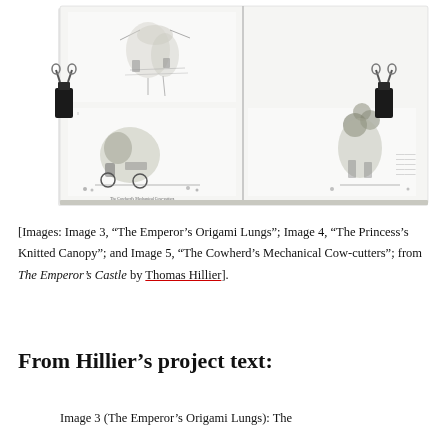[Figure (photo): Photograph of an open book held open with two binder clips on left and right edges. The open spread shows architectural/mechanical drawings: top page shows a figure with mechanical components (The Emperor's Origami Lungs), bottom left shows a mechanical contraption on wheels (The Cowherd's Mechanical Cow-cutters), and bottom right shows another abstract mechanical figure (The Princess's Knitted Canopy). The book is photographed against a white background.]
[Images: Image 3, “The Emperor’s Origami Lungs”; Image 4, “The Princess’s Knitted Canopy”; and Image 5, “The Cowherd’s Mechanical Cow-cutters”; from The Emperor’s Castle by Thomas Hillier].
From Hillier’s project text:
Image 3 (The Emperor’s Origami Lungs): The